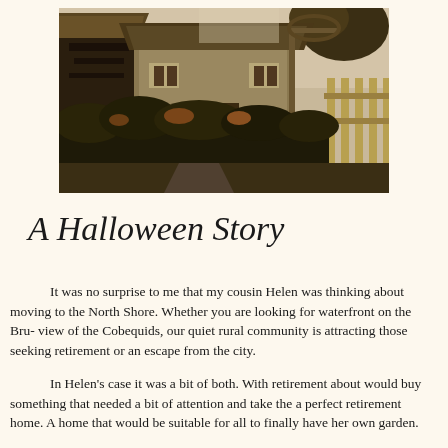[Figure (photo): Vintage photograph of an old rural cottage or farmhouse with thatched roof, timber framing, stone walls, overgrown hedgerow in foreground, and a wooden fence on the right side. Autumn foliage visible. Warm sepia/brown tones.]
A Halloween Story
It was no surprise to me that my cousin Helen was thinking about moving to the North Shore. Whether you are looking for waterfront on the Bru- view of the Cobequids, our quiet rural community is attracting those seeking retirement or an escape from the city.
In Helen's case it was a bit of both. With retirement about would buy something that needed a bit of attention and take the a perfect retirement home. A home that would be suitable for all to finally have her own garden.